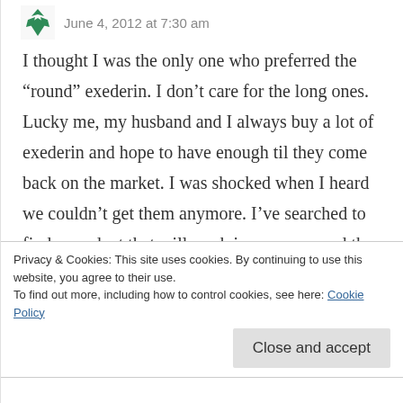June 4, 2012 at 7:30 am
I thought I was the only one who preferred the “round” exederin. I don’t care for the long ones. Lucky me, my husband and I always buy a lot of exederin and hope to have enough til they come back on the market. I was shocked when I heard we couldn’t get them anymore. I’ve searched to find a product that will work in case we need them later. Vanquish seems to do an okay job. But still, there’s nothing like a couple of exederin to do the job.
Privacy & Cookies: This site uses cookies. By continuing to use this website, you agree to their use.
To find out more, including how to control cookies, see here: Cookie Policy